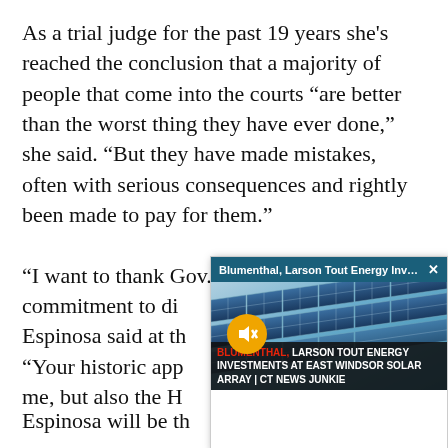As a trial judge for the past 19 years she's reached the conclusion that a majority of people that come into the courts “are better than the worst thing they have ever done,” she said. “But they have made mistakes, often with serious consequences and rightly been made to pay for them.”
“I want to thank Gov. Malloy for his commitment to di[…] Espinosa said at th[…] “Your historic app[…] me, but also the H[…]
[Figure (screenshot): A popup video overlay showing solar panels with a muted speaker icon, titled 'Blumenthal, Larson Tout Energy Inv...' with an X close button. Caption reads: 'BLUMENTHAL, LARSON TOUT ENERGY INVESTMENTS AT EAST WINDSOR SOLAR ARRAY | CT NEWS JUNKIE']
Espinosa will be th[…]